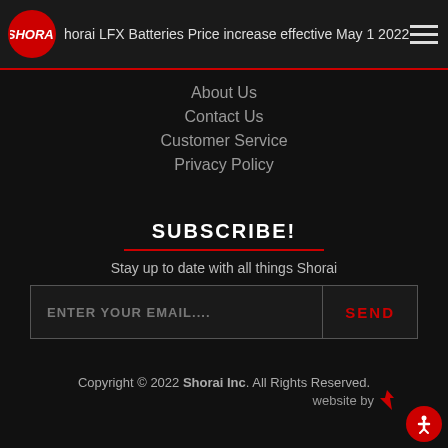Shorai LFX Batteries Price increase effective May 1 2022
About Us
Contact Us
Customer Service
Privacy Policy
SUBSCRIBE!
Stay up to date with all things Shorai
ENTER YOUR EMAIL....
SEND
Copyright © 2022 Shorai Inc. All Rights Reserved.
website by